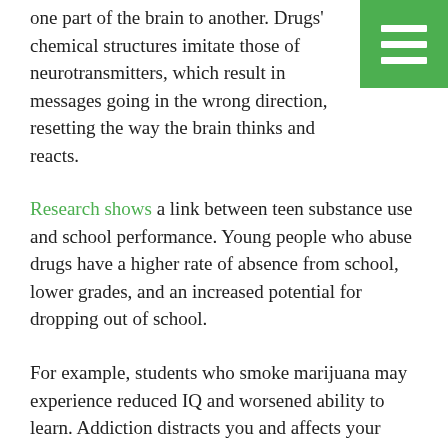one part of the brain to another. Drugs' chemical structures imitate those of neurotransmitters, which result in messages going in the wrong direction, resetting the way the brain thinks and reacts.
Research shows a link between teen substance use and school performance. Young people who abuse drugs have a higher rate of absence from school, lower grades, and an increased potential for dropping out of school.
For example, students who smoke marijuana may experience reduced IQ and worsened ability to learn. Addiction distracts you and affects your ability to concentrate. One-third of dropouts indicate that their substance use was an important contributing factor in their decision to leave school. However, this isn't the full extent of how addiction can affect learning and